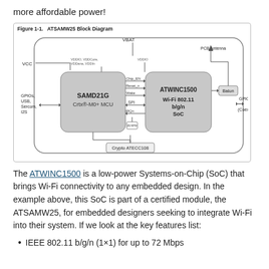more affordable power!
[Figure (schematic): ATSAMW25 Block Diagram showing SAMD21G Cortex-M0+ MCU connected to ATWINC1500 Wi-Fi 802.11 b/g/n SoC via SPI, IRQn, Chip_EN, Reset_n, Wake signals. VCC and VBAT power inputs. PCB Antenna via Balun on right. GPIOs, USB, Sercom, I2S on left. GPIO (Coex) on right. Crypto ATECC108 at bottom. 26 MHz crystal.]
Figure 1-1. ATSAMW25 Block Diagram
The ATWINC1500 is a low-power Systems-on-Chip (SoC) that brings Wi-Fi connectivity to any embedded design. In the example above, this SoC is part of a certified module, the ATSAMW25, for embedded designers seeking to integrate Wi-Fi into their system. If we look at the key features list:
IEEE 802.11 b/g/n (1×1) for up to 72 Mbps